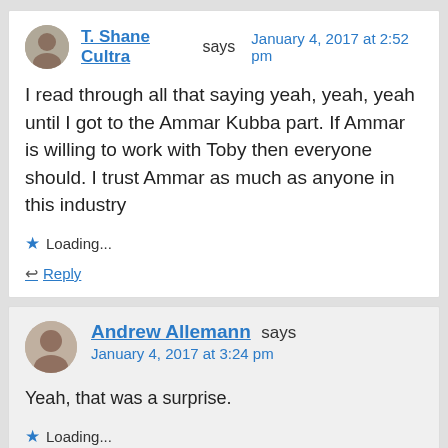T. Shane Cultra says January 4, 2017 at 2:52 pm
I read through all that saying yeah, yeah, yeah until I got to the Ammar Kubba part. If Ammar is willing to work with Toby then everyone should. I trust Ammar as much as anyone in this industry
Loading...
Reply
Andrew Allemann says
January 4, 2017 at 3:24 pm
Yeah, that was a surprise.
Loading...
Reply